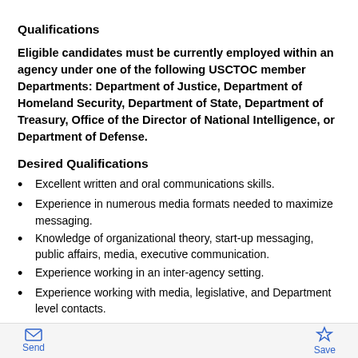Qualifications
Eligible candidates must be currently employed within an agency under one of the following USCTOC member Departments: Department of Justice, Department of Homeland Security, Department of State, Department of Treasury, Office of the Director of National Intelligence, or Department of Defense.
Desired Qualifications
Excellent written and oral communications skills.
Experience in numerous media formats needed to maximize messaging.
Knowledge of organizational theory, start-up messaging, public affairs, media, executive communication.
Experience working in an inter-agency setting.
Experience working with media, legislative, and Department level contacts.
Send   Save